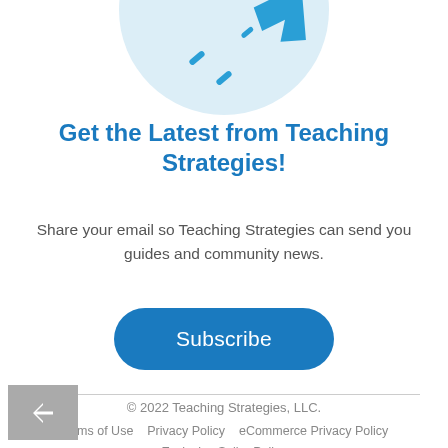[Figure (illustration): Partial illustration of a light blue circle with teal/blue arrow and dash marks, cropped at top of page]
Get the Latest from Teaching Strategies!
Share your email so Teaching Strategies can send you guides and community news.
Subscribe
© 2022 Teaching Strategies, LLC.
Terms of Use    Privacy Policy    eCommerce Privacy Policy    Exclusive Seller Policy    Permission to Reprint/Request for ADA files